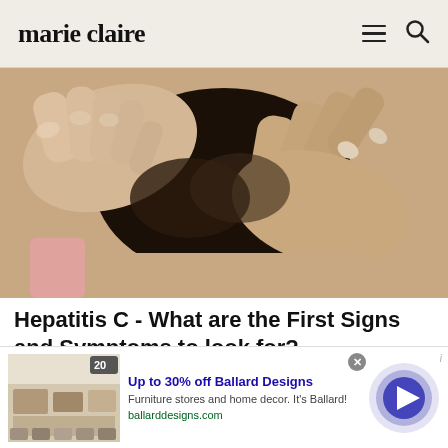marie claire
[Figure (photo): Close-up photo of hands examining the back of a person's neck/hair, suggesting a medical examination]
Hepatitis C - What are the First Signs and Symptoms to look for?
[Figure (screenshot): Advertisement banner for Ballard Designs showing furniture store image, headline 'Up to 30% off Ballard Designs', body text 'Furniture stores and home decor. It's Ballard!', URL 'ballarddesigns.com', and a circular play button graphic]